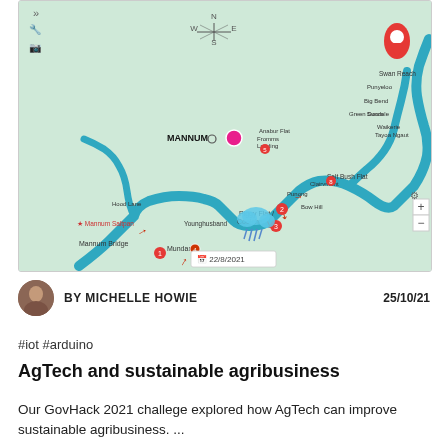[Figure (map): Interactive map showing a river route through South Australia including locations such as Mannum, Salt Bush Flat, Mundara, Piggy Flat/Coolcha, and Swan Reach, dated 22/8/2021. A red location pin is visible near Swan Reach. The map shows a winding blue river with various red arrow markers and numbered waypoints.]
BY MICHELLE HOWIE   25/10/21
#iot #arduino
AgTech and sustainable agribusiness
Our GovHack 2021 challege explored how AgTech can improve sustainable agribusiness.  ...